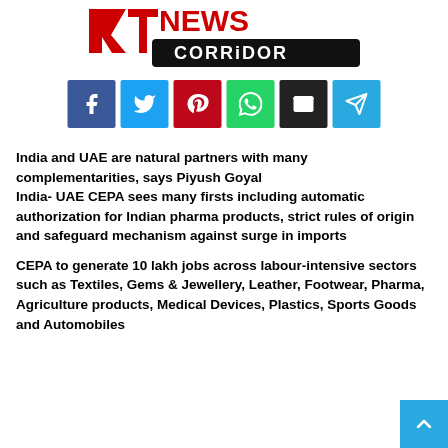[Figure (logo): RTNews Corridor logo with red and black branding]
[Figure (infographic): Social media share buttons: Facebook, Twitter, Pinterest, WhatsApp, Email, Telegram]
India and UAE are natural partners with many complementarities, says Piyush Goyal India- UAE CEPA sees many firsts including automatic authorization for Indian pharma products, strict rules of origin and safeguard mechanism against surge in imports
CEPA to generate 10 lakh jobs across labour-intensive sectors such as Textiles, Gems & Jewellery, Leather, Footwear, Pharma, Agriculture products, Medical Devices, Plastics, Sports Goods and Automobiles